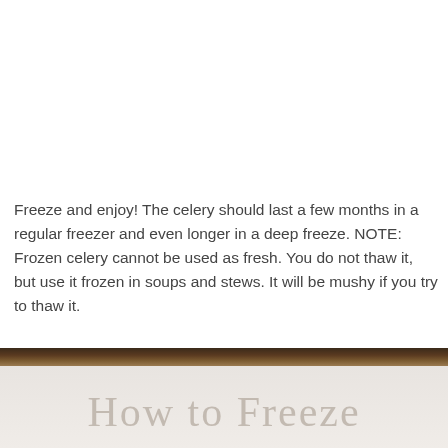Freeze and enjoy! The celery should last a few months in a regular freezer and even longer in a deep freeze. NOTE: Frozen celery cannot be used as fresh. You do not thaw it, but use it frozen in soups and stews. It will be mushy if you try to thaw it.
[Figure (photo): Bottom portion of page showing a dark wooden surface strip and below it a light reflection area with partially visible serif text 'How to Freeze' in a faded/reflected style]